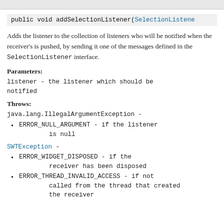public void addSelectionListener(SelectionListener
Adds the listener to the collection of listeners who will be notified when the receiver's is pushed, by sending it one of the messages defined in the SelectionListener interface.
Parameters:
listener - the listener which should be notified
Throws:
java.lang.IllegalArgumentException -
ERROR_NULL_ARGUMENT - if the listener is null
SWTException -
ERROR_WIDGET_DISPOSED - if the receiver has been disposed
ERROR_THREAD_INVALID_ACCESS - if not called from the thread that created the receiver